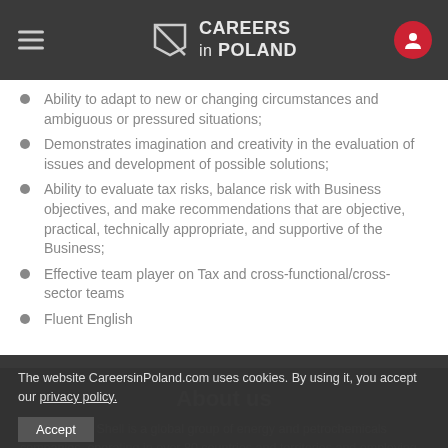CAREERS in POLAND
Ability to adapt to new or changing circumstances and ambiguous or pressured situations;
Demonstrates imagination and creativity in the evaluation of issues and development of possible solutions;
Ability to evaluate tax risks, balance risk with Business objectives, and make recommendations that are objective, practical, technically appropriate, and supportive of the Business;
Effective team player on Tax and cross-functional/cross-sector teams
Fluent English
About us
Royal Dutch Shell is a global group of energy and petrochemicals companies, operating in over 80 countries and territories and employing more than 90,000 people. Our core values of Honesty, Integrity and Respect for
The website CareersinPoland.com uses cookies. By using it, you accept our privacy policy.